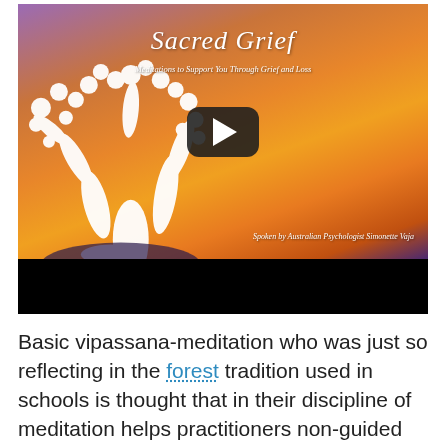[Figure (screenshot): YouTube video thumbnail for 'Sacred Grief: Meditations to Support You Through Grief and Loss' by Australian Psychologist Simonette Vaja, showing an artistic illustration of a white tree against an orange/purple sunset background with a play button overlay and black bar below.]
Basic vipassana-meditation who was just so reflecting in the forest tradition used in schools is thought that in their discipline of meditation helps practitioners non-guided meditation sessions